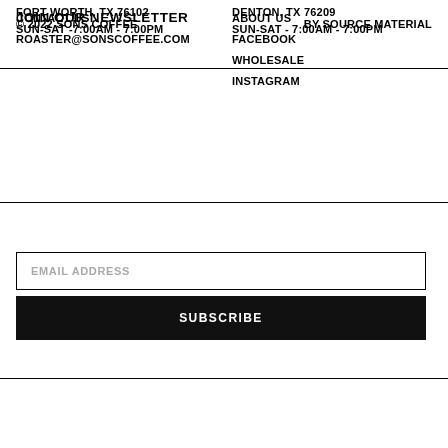FORT WORTH, TX 76102
SUN-SAT -7:00AM - 7:00PM
DENTON, TX 76209
SUN-SAT - 7:00AM - 7:00PM
CONTACT US
ROASTER@SONSCOFFEE.COM
ABOUT US
FACEBOOK
WHOLESALE
INSTAGRAM
JOIN OUR NEWSLETTER
EMAIL ADDRESS
SUBSCRIBE
© 2022 SONS COFFEE          BY SOURCE MATERIAL